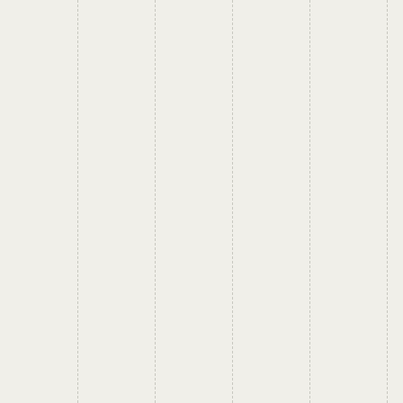stick around for a while and he's frozen out. Because Gove do things besides talk, the futu